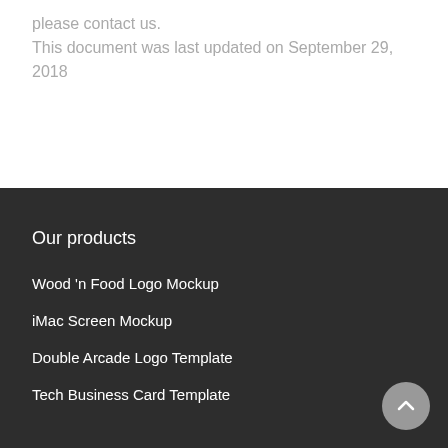please contact us.
This document was last updated on September 29, 2018
Our products
Wood 'n Food Logo Mockup
iMac Screen Mockup
Double Arcade Logo Template
Tech Business Card Template